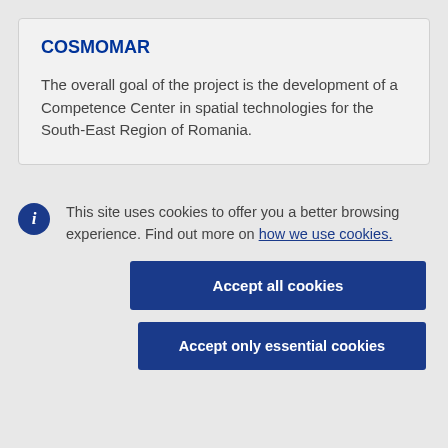COSMOMAR
The overall goal of the project is the development of a Competence Center in spatial technologies for the South-East Region of Romania.
This site uses cookies to offer you a better browsing experience. Find out more on how we use cookies.
Accept all cookies
Accept only essential cookies